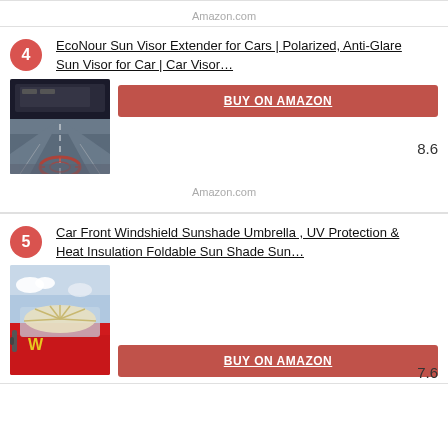Amazon.com
4
EcoNour Sun Visor Extender for Cars | Polarized, Anti-Glare Sun Visor for Car | Car Visor…
8.6
[Figure (photo): Car dashboard view with sun visor extender blocking glare on highway]
BUY ON AMAZON
Amazon.com
5
Car Front Windshield Sunshade Umbrella , UV Protection & Heat Insulation Foldable Sun Shade Sun…
7.6
[Figure (photo): Red car with windshield sunshade umbrella deployed against sky background]
BUY ON AMAZON